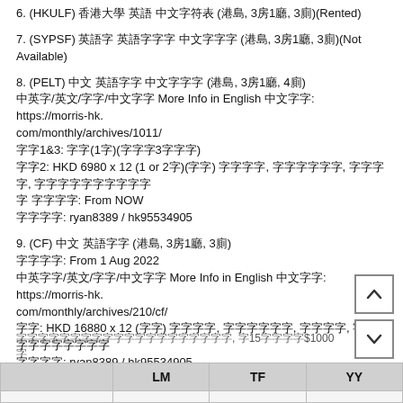6. (HKULF) 中文字符 英文字符 中文字符列 (港島, 3房1廳, 3廁)(Rented)
7. (SYPSF) 中文字 英文字字 中文字字字 (港島, 3房1廳, 3廁)(Not Available)
8. (PELT) 中文 英文字字 中文字字字 (港島, 3房1廳, 4廁)
中文字/英文/字字/中文字字 More Info in English 中文字字: https://morris-hk.com/monthly/archives/1011/
字字1&3: 字字(1字)(字字字3字字字)
字字2: HKD 6980 x 12 (1 or 2字)(字字) 字字字字, 字字字字字字, 字字字字, 字字字字字字字字字字
字 字字字字: From NOW
字字字字: ryan8389 / hk95534905
9. (CF) 中文 英文字字 (港島, 3房1廳, 3廁)
字字字字: From 1 Aug 2022
中文字字/英文/字字/中文字字 More Info in English 中文字字: https://morris-hk.com/monthly/archives/210/cf/
字字: HKD 16880 x 12 (字字) 字字字字, 字字字字字字, 字字字字, 字字字字字字字字字字
字字字字: ryan8389 / hk95534905
字字字字字字字字字字字字字字字字字字字字, 字15字字字字$1000字
|  | LM | TF | YY |
| --- | --- | --- | --- |
|  |  |  |  |